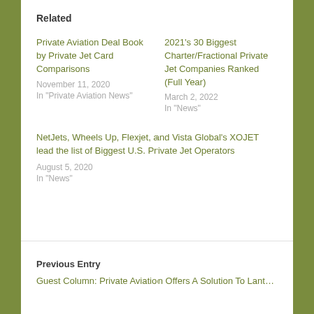Related
Private Aviation Deal Book by Private Jet Card Comparisons
November 11, 2020
In "Private Aviation News"
2021's 30 Biggest Charter/Fractional Private Jet Companies Ranked (Full Year)
March 2, 2022
In "News"
NetJets, Wheels Up, Flexjet, and Vista Global's XOJET lead the list of Biggest U.S. Private Jet Operators
August 5, 2020
In "News"
Previous Entry
Guest Column: Private Aviation Offers A Solution To Lanton…